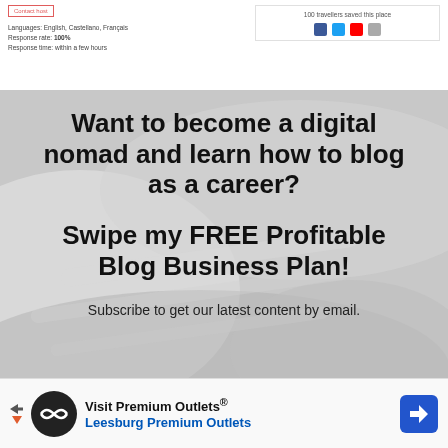[Figure (screenshot): Top strip showing two UI cards: left card with a red 'Contact host' button and small text about languages/response rate, right card showing '100 travellers saved this place' with social media icons]
[Figure (photo): Banner image with blurred white/grey background (notebooks), containing bold text headings and a subscribe line]
Want to become a digital nomad and learn how to blog as a career?
Swipe my FREE Profitable Blog Business Plan!
Subscribe to get our latest content by email.
[Figure (infographic): Ad bar at the bottom: 'Visit Premium Outlets® Leesburg Premium Outlets' with circular logo and blue navigation icon]